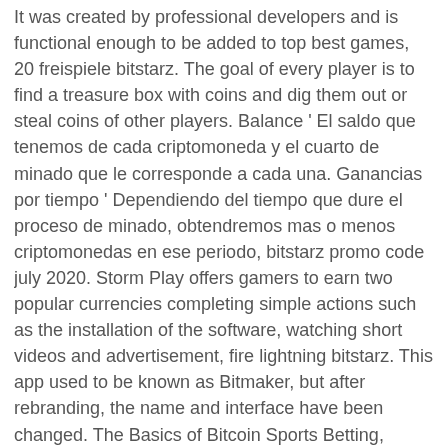It was created by professional developers and is functional enough to be added to top best games, 20 freispiele bitstarz. The goal of every player is to find a treasure box with coins and dig them out or steal coins of other players. Balance ' El saldo que tenemos de cada criptomoneda y el cuarto de minado que le corresponde a cada una. Ganancias por tiempo ' Dependiendo del tiempo que dure el proceso de minado, obtendremos mas o menos criptomonedas en ese periodo, bitstarz promo code july 2020. Storm Play offers gamers to earn two popular currencies completing simple actions such as the installation of the software, watching short videos and advertisement, fire lightning bitstarz. This app used to be known as Bitmaker, but after rebranding, the name and interface have been changed. The Basics of Bitcoin Sports Betting, bitstarz promo code july 2020. Players must